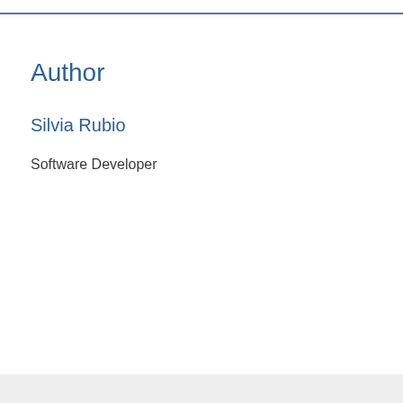Author
Silvia Rubio
Software Developer